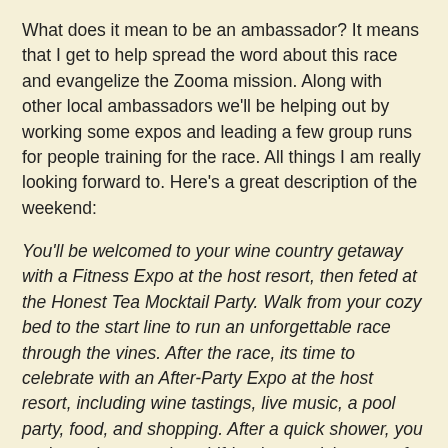What does it mean to be an ambassador?  It means that I get to help spread the word about this race and evangelize the Zooma mission.  Along with other local ambassadors we'll be helping out by working some expos and leading a few group runs for people training for the race.  All things I am really looking forward to. Here's a great description of the weekend:
You'll be welcomed to your wine country getaway with a Fitness Expo at the host resort, then feted at the Honest Tea Mocktail Party. Walk from your cozy bed to the start line to run an unforgettable race through the vines.  After the race, its time to celebrate with an After-Party Expo at the host resort, including wine tastings, live music, a pool party, food, and shopping. After a quick shower, you and your best running girlfriends can visit some of the best winery tasting rooms in the country.
What's in it for you?  Did I mention it's in Napa?  If you're still not convinced read this recap of Zooma Florida by Runladylike.  It's what convinced me that I had to do one of these races.  As an added incentive you get 10% off